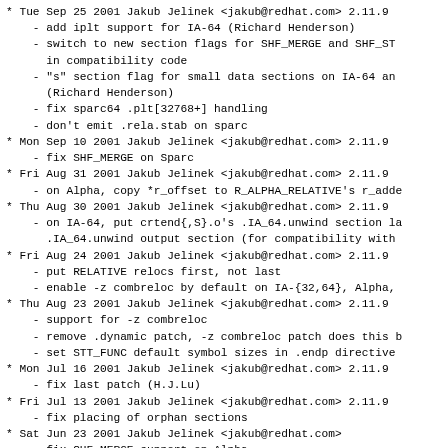* Tue Sep 25 2001 Jakub Jelinek <jakub@redhat.com> 2.11.9
- add iplt support for IA-64 (Richard Henderson)
- switch to new section flags for SHF_MERGE and SHF_STR
    in compatibility code
- "s" section flag for small data sections on IA-64 and
    (Richard Henderson)
- fix sparc64 .plt[32768+] handling
- don't emit .rela.stab on sparc
* Mon Sep 10 2001 Jakub Jelinek <jakub@redhat.com> 2.11.9
- fix SHF_MERGE on Sparc
* Fri Aug 31 2001 Jakub Jelinek <jakub@redhat.com> 2.11.9
- on Alpha, copy *r_offset to R_ALPHA_RELATIVE's r_adde
* Thu Aug 30 2001 Jakub Jelinek <jakub@redhat.com> 2.11.9
- on IA-64, put crtend{,S}.o's .IA_64.unwind section la
    .IA_64.unwind output section (for compatibility with
* Fri Aug 24 2001 Jakub Jelinek <jakub@redhat.com> 2.11.9
- put RELATIVE relocs first, not last
- enable -z combreloc by default on IA-{32,64}, Alpha,
* Thu Aug 23 2001 Jakub Jelinek <jakub@redhat.com> 2.11.9
- support for -z combreloc
- remove .dynamic patch, -z combreloc patch does this b
- set STT_FUNC default symbol sizes in .endp directive
* Mon Jul 16 2001 Jakub Jelinek <jakub@redhat.com> 2.11.9
- fix last patch (H.J.Lu)
* Fri Jul 13 2001 Jakub Jelinek <jakub@redhat.com> 2.11.9
- fix placing of orphan sections
* Sat Jun 23 2001 Jakub Jelinek <jakub@redhat.com>
- fix SHF_MERGE support on Alpha
* Fri Jun 08 2001 Jakub Jelinek <jakub@redhat.com>
- 2.11.90.0.8